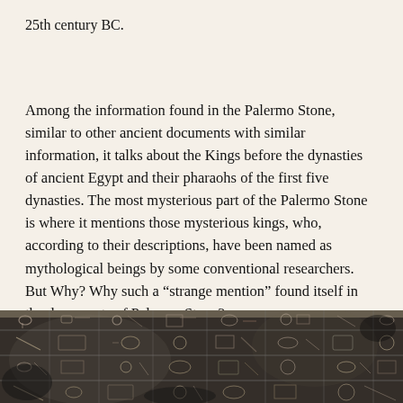25th century BC.
Among the information found in the Palermo Stone, similar to other ancient documents with similar information, it talks about the Kings before the dynasties of ancient Egypt and their pharaohs of the first five dynasties. The most mysterious part of the Palermo Stone is where it mentions those mysterious kings, who, according to their descriptions, have been named as mythological beings by some conventional researchers. But Why? Why such a “strange mention” found itself in the documents of Palermo Stone?
[Figure (photo): A photograph of the Palermo Stone artifact, showing an ancient Egyptian basalt stele with hieroglyphic inscriptions arranged in horizontal rows with vertical dividers, photographed in black and white.]